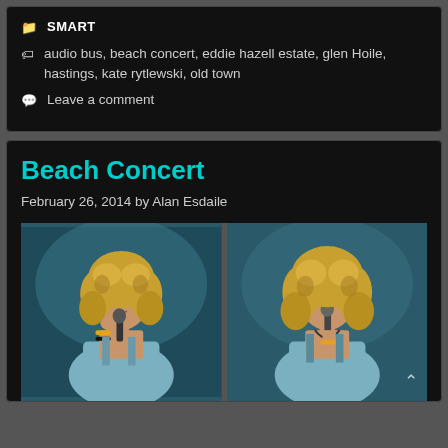SMART
audio bus, beach concert, eddie hazell estate, glen Hoile, hastings, kate rytlewski, old town
Leave a comment
Beach Concert
February 26, 2014 by Alan Esdaile
[Figure (photo): Two side-by-side photos of a woman with curly blonde hair singing into a microphone, wearing a light blue halter top and yellow/orange bangles, at what appears to be a beach concert. Dark teal background behind both photos.]